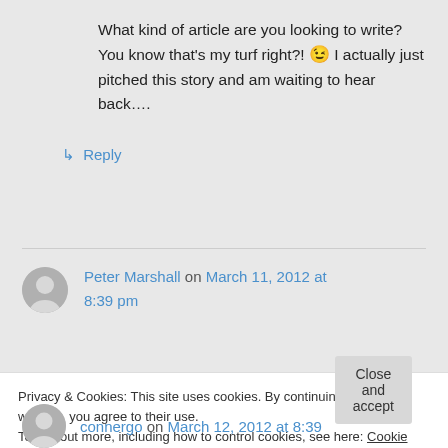What kind of article are you looking to write? You know that's my turf right?! 😉 I actually just pitched this story and am waiting to hear back….
↳ Reply
Peter Marshall on March 11, 2012 at 8:39 pm
Privacy & Cookies: This site uses cookies. By continuing to use this website, you agree to their use.
To find out more, including how to control cookies, see here: Cookie Policy
Close and accept
connergo on March 12, 2012 at 8:39